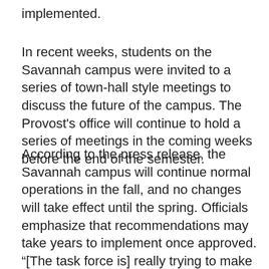implemented.
In recent weeks, students on the Savannah campus were invited to a series of town-hall style meetings to discuss the future of the campus. The Provost's office will continue to hold a series of meetings in the coming weeks before the end of the semester.
According to the press release, the Savannah campus will continue normal operations in the fall, and no changes will take effect until the spring. Officials emphasize that recommendations may take years to implement once approved.
“[The task force is] really trying to make this a student-focused transition. They want to make sure that students’ needs are met and they can graduate,” Nagel